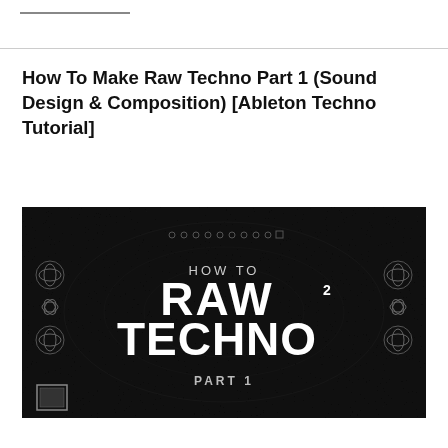How To Make Raw Techno Part 1 (Sound Design & Composition) [Ableton Techno Tutorial]
[Figure (screenshot): Black thumbnail image showing text: HOW TO RAW TECHNO² PART 1, with dark textured background and decorative geometric elements on the sides]